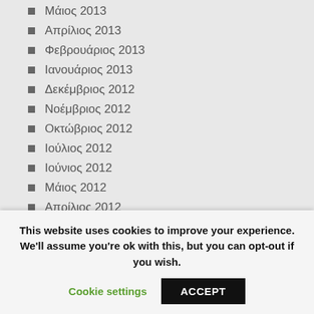Μάιος 2013
Απρίλιος 2013
Φεβρουάριος 2013
Ιανουάριος 2013
Δεκέμβριος 2012
Νοέμβριος 2012
Οκτώβριος 2012
Ιούλιος 2012
Ιούνιος 2012
Μάιος 2012
Απρίλιος 2012
Μάρτιος 2012
Φεβρουάριος 2012
This website uses cookies to improve your experience. We'll assume you're ok with this, but you can opt-out if you wish.
Cookie settings | ACCEPT